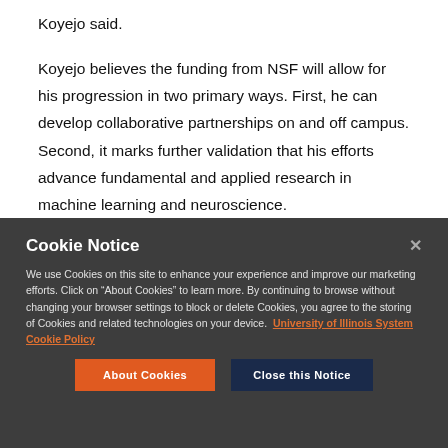Koyejo said.
Koyejo believes the funding from NSF will allow for his progression in two primary ways. First, he can develop collaborative partnerships on and off campus. Second, it marks further validation that his efforts advance fundamental and applied research in machine learning and neuroscience.
Cookie Notice
We use Cookies on this site to enhance your experience and improve our marketing efforts. Click on “About Cookies” to learn more. By continuing to browse without changing your browser settings to block or delete Cookies, you agree to the storing of Cookies and related technologies on your device. University of Illinois System Cookie Policy